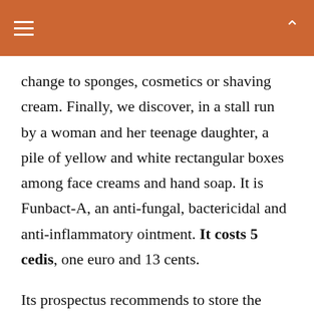change to sponges, cosmetics or shaving cream. Finally, we discover, in a stall run by a woman and her teenage daughter, a pile of yellow and white rectangular boxes among face creams and hand soap. It is Funbact-A, an anti-fungal, bactericidal and anti-inflammatory ointment. It costs 5 cedis, one euro and 13 cents.
Its prospectus recommends to store the product in a cool, dry place, below 30 ° C - specifications that are not met. The singularity